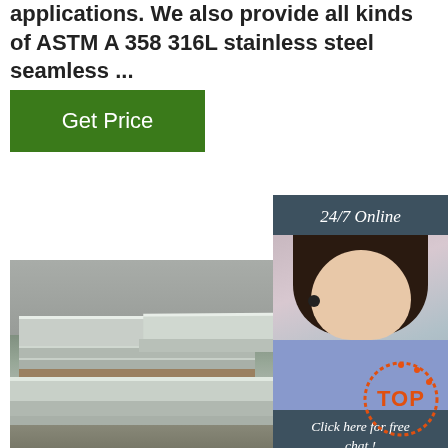applications. We also provide all kinds of ASTM A358 316L stainless steel seamless ...
[Figure (other): Green 'Get Price' button]
[Figure (other): Sidebar with '24/7 Online' header, customer service representative photo, 'Click here for free chat!' text, and orange 'QUOTATION' button]
[Figure (photo): Warehouse photo showing stacks of stainless steel sheets on pallets in an industrial facility]
[Figure (logo): Orange circular 'TOP' badge in bottom right corner]